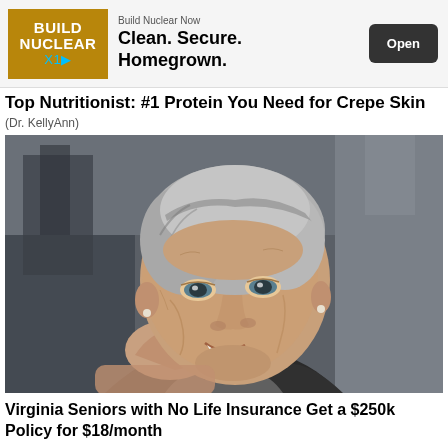[Figure (other): Advertisement banner: Build Nuclear Now — Clean. Secure. Homegrown. with Open button]
Top Nutritionist: #1 Protein You Need for Crepe Skin
(Dr. KellyAnn)
[Figure (photo): Close-up portrait photo of a smiling elderly woman with short grey hair, wearing a dark jacket, resting her chin on her hand.]
Virginia Seniors with No Life Insurance Get a $250k Policy for $18/month